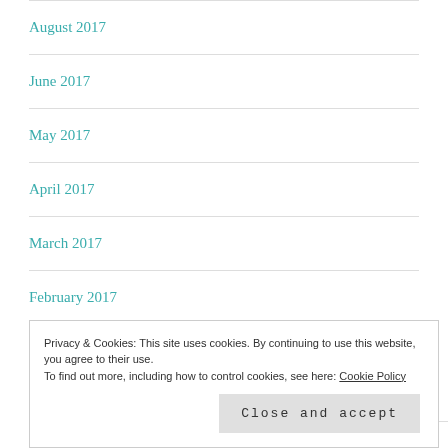August 2017
June 2017
May 2017
April 2017
March 2017
February 2017
January 2017
Privacy & Cookies: This site uses cookies. By continuing to use this website, you agree to their use.
To find out more, including how to control cookies, see here: Cookie Policy
Close and accept
May 2016